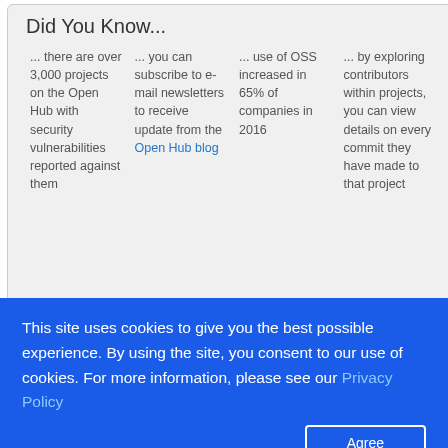Did You Know...
... there are over 3,000 projects on the Open Hub with security vulnerabilities reported against them
... you can subscribe to e-mail newsletters to receive update from the Open Hub blog
... use of OSS increased in 65% of companies in 2016
... by exploring contributors within projects, you can view details on every commit they have made to that project
This site uses cookies to give you the best possible experience. By using the site, you consent to our use of cookies. For more information, please see our Privacy Policy
Agree